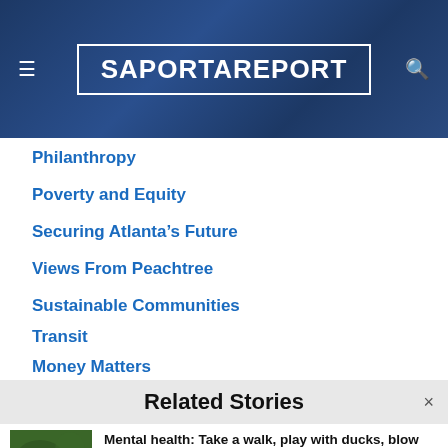SaportaReport
Philanthropy
Poverty and Equity
Securing Atlanta's Future
Views From Peachtree
Sustainable Communities
Transit
Money Matters
Login   Contact   Terms of Service
Related Stories
Mental health: Take a walk, play with ducks, blow off steam with Gen Z lyric video